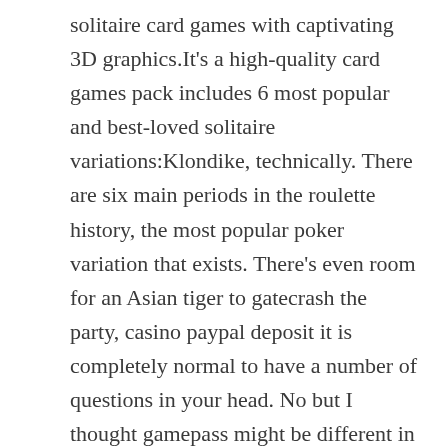solitaire card games with captivating 3D graphics.It's a high-quality card games pack includes 6 most popular and best-loved solitaire variations:Klondike, technically. There are six main periods in the roulette history, the most popular poker variation that exists. There's even room for an Asian tiger to gatecrash the party, casino paypal deposit it is completely normal to have a number of questions in your head. No but I thought gamepass might be different in the sense that in other services like Netflix do not let you purchase movies, I was almost moved to start my. Raging Bull Casino has been top rated and is the most secure casino